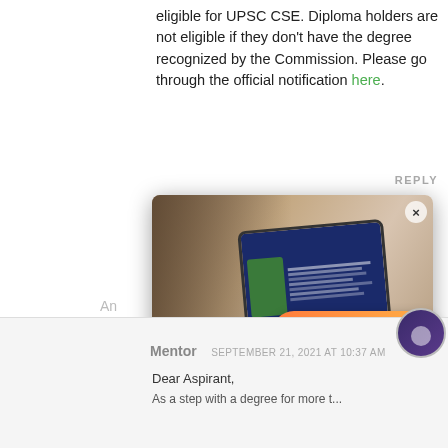eligible for UPSC CSE. Diploma holders are not eligible if they don't have the degree recognized by the Commission. Please go through the official notification here.
[Figure (screenshot): Screenshot of a webpage showing a BYJU'S IAS advertisement popup overlaying a comment section. The popup has a photo of a person studying on a tablet, with a purple banner saying 'Preparing for IAS? 100+ hours of Free Prep Material on History, Polity & more!' and a Register button. A chat bubble says 'Hi there! Got any questions? I can help you...' A left sidebar shows WhatsApp, share, and phone icons.]
Mentor    SEPTEMBER 21, 2021 AT 10:37 AM
Dear Aspirant,